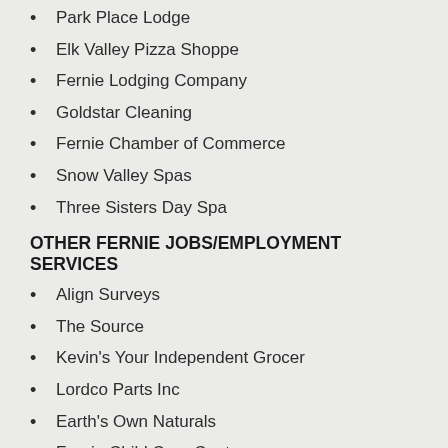Park Place Lodge
Elk Valley Pizza Shoppe
Fernie Lodging Company
Goldstar Cleaning
Fernie Chamber of Commerce
Snow Valley Spas
Three Sisters Day Spa
OTHER FERNIE JOBS/EMPLOYMENT SERVICES
Align Surveys
The Source
Kevin's Your Independent Grocer
Lordco Parts Inc
Earth's Own Naturals
Fernie Child Care Centre
Western Financial Group